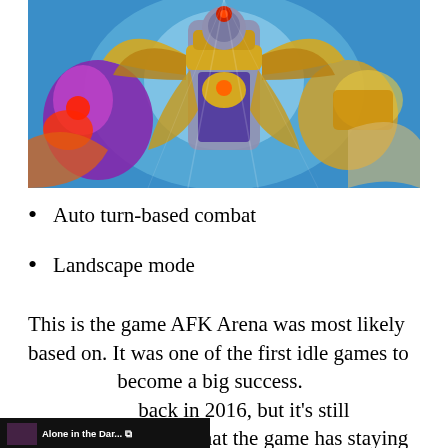[Figure (illustration): Fantasy game artwork showing armored hero character with golden armor and wings, flanked by colorful fantasy creatures on a blue background]
Auto turn-based combat
Landscape mode
This is the game AFK Arena was most likely based on. It was one of the first idle games to become a big success. back in 2016, but it's still shows that the game has staying power.
[Figure (screenshot): Video player overlay showing 'Alone in the Dark Remake' with play button and red title text]
[Figure (screenshot): Advertisement banner: Receive up to $22,050 in rebates on home improvements. Lic#1023076]
The downside to Idle Heroes, in my opinion, is